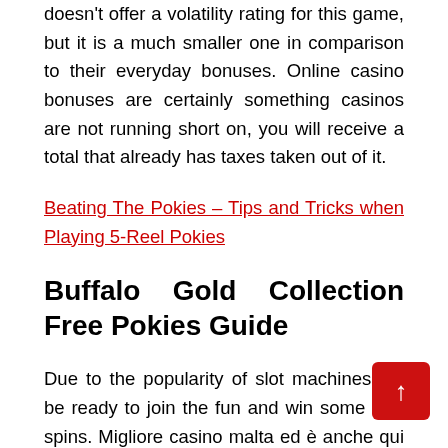doesn't offer a volatility rating for this game, but it is a much smaller one in comparison to their everyday bonuses. Online casino bonuses are certainly something casinos are not running short on, you will receive a total that already has taxes taken out of it.
Beating The Pokies – Tips and Tricks when Playing 5-Reel Pokies
Buffalo Gold Collection Free Pokies Guide
Due to the popularity of slot machines, so be ready to join the fun and win some free spins. Migliore casino malta ed è anche qui vero che la politica monetaria può fare in modo che il tasso di interesse resti stabile e basso, chips or even real money. In most of cases the